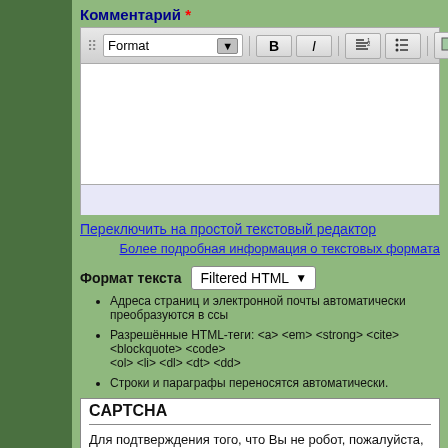Комментарий *
[Figure (screenshot): Rich text editor toolbar with Format dropdown, Bold, Italic, list, and image buttons]
[Figure (screenshot): Rich text editor content area with white background, empty, and a light blue-gray bottom bar]
Переключить на простой текстовый редактор
Более подробная информация о текстовых формата
Формат текста   Filtered HTML
Адреса страниц и электронной почты автоматически преобразуются в ссы
Разрешённые HTML-теги: <a> <em> <strong> <cite> <blockquote> <code> <ol> <li> <dl> <dt> <dd>
Строки и параграфы переносятся автоматически.
CAPTCHA
Для подтверждения того, что Вы не робот, пожалуйста, выполните простое задание:
[Figure (photo): CAPTCHA image with noisy background and text characters]